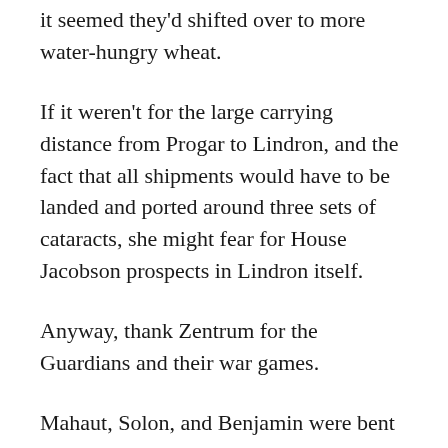it seemed they'd shifted over to more water-hungry wheat.
If it weren't for the large carrying distance from Progar to Lindron, and the fact that all shipments would have to be landed and ported around three sets of cataracts, she might fear for House Jacobson prospects in Lindron itself.
Anyway, thank Zentrum for the Guardians and their war games.
Mahaut, Solon, and Benjamin were bent over a scroll comparing the Garangipore House offers with what they knew were in the Lilleheim silos when the messenger from Hestinga arrived.
He was carrying a reed basket on his back. It was held on by two dakleather straps over his shoulders. Mahaut recognized him as one of